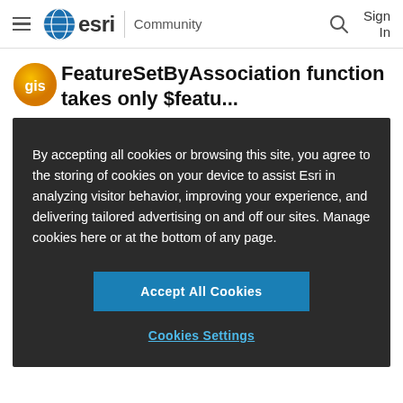esri Community Sign In
FeatureSetByAssociation function takes only $featu...
By accepting all cookies or browsing this site, you agree to the storing of cookies on your device to assist Esri in analyzing visitor behavior, improving your experience, and delivering tailored advertising on and off our sites. Manage cookies here or at the bottom of any page.
Accept All Cookies
Cookies Settings